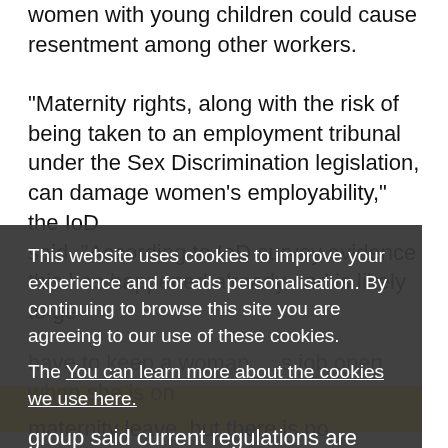women with young children could cause resentment among other workers.
“Maternity rights, along with the risk of being taken to an employment tribunal under the Sex Discrimination legislation, can damage women’s employability,” the IoD said. “According to IoD survey evidence this has happened already and is likely to ge[t worse].
The group said current regulations are difficult to manage. Employers
have to keep a woman’s job open when she is on maternity leave, but there is no
This website uses cookies to improve your experience and for ads personalisation. By continuing to browse this site you are agreeing to our use of these cookies. You can learn more about the cookies we use here.
OK